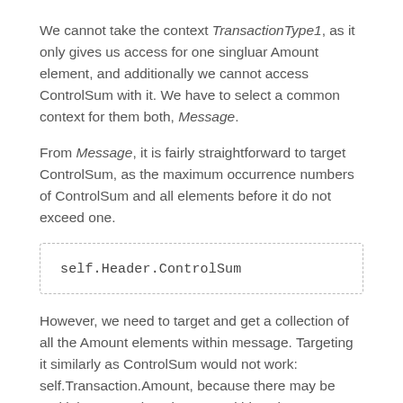We cannot take the context TransactionType1, as it only gives us access for one singluar Amount element, and additionally we cannot access ControlSum with it. We have to select a common context for them both, Message.
From Message, it is fairly straightforward to target ControlSum, as the maximum occurrence numbers of ControlSum and all elements before it do not exceed one.
However, we need to target and get a collection of all the Amount elements within message. Targeting it similarly as ControlSum would not work: self.Transaction.Amount, because there may be multiple transaction elements within schema. OCL would not know which of the transaction elements...